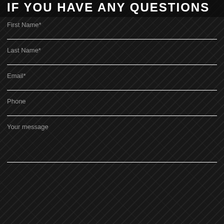IF YOU HAVE ANY QUESTIONS
First Name*
Last Name*
Email*
Phone
Your message